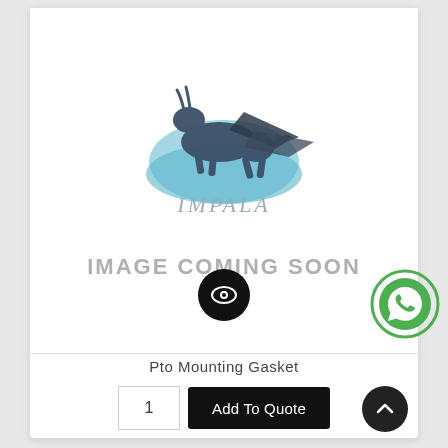[Figure (logo): Impala company logo: a stylized running impala/gazelle in dark blue-grey with a light blue circular swoosh, with the text 'IMPALA' below in grey italic font]
IMAGE COMING SOON
Pto Mounting Gasket
1
Add To Quote